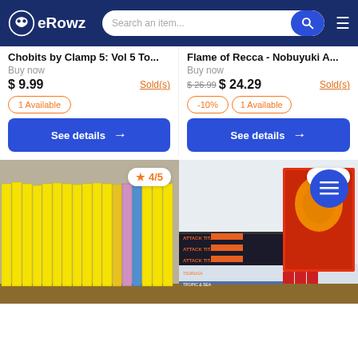eRowz - Search an item...
Chobits by Clamp 5: Vol 5 To...
Buy now
$ 9.99   Sold(s)
1 Available
See details →
Flame of Recca - Nobuyuki A...
Buy now
$ 26.99  $ 24.29   Sold(s)
-10%
1 Available
See details →
[Figure (photo): Stack of manga books with yellow spines, rating 4/5]
[Figure (photo): Stack of manga books including Attack on Titan and Dramacon, rating 4/5]